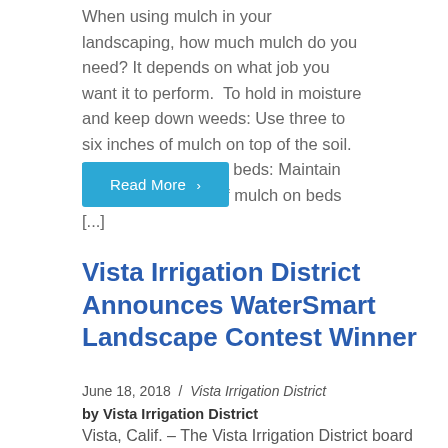When using mulch in your landscaping, how much mulch do you need? It depends on what job you want it to perform.  To hold in moisture and keep down weeds: Use three to six inches of mulch on top of the soil.  To maintain planting beds: Maintain two to four inches of mulch on beds [...]
Read More >
Vista Irrigation District Announces WaterSmart Landscape Contest Winner
June 18, 2018 / Vista Irrigation District
by Vista Irrigation District
Vista, Calif. – The Vista Irrigation District board of directors recognized one of its customers for their entry in the district's WaterSmart Landscape Contest. The award...